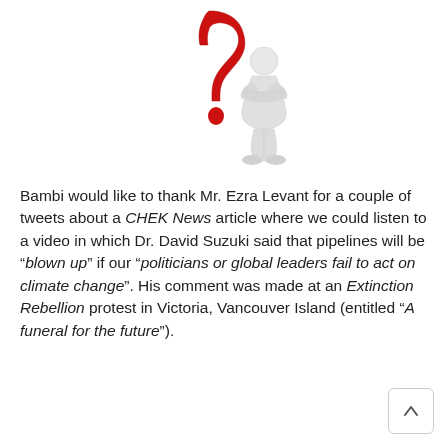[Figure (illustration): A 3D white humanoid figure standing next to a large red question mark, arms crossed, looking thoughtful.]
Bambi would like to thank Mr. Ezra Levant for a couple of tweets about a CHEK News article where we could listen to a video in which Dr. David Suzuki said that pipelines will be “blown up” if our “politicians or global leaders fail to act on climate change”. His comment was made at an Extinction Rebellion protest in Victoria, Vancouver Island (entitled “A funeral for the future”).